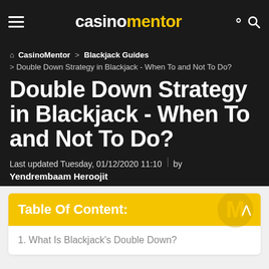casinomentor
CasinoMentor > Blackjack Guides > Double Down Strategy in Blackjack - When To and Not To Do?
Double Down Strategy in Blackjack - When To and Not To Do?
Last updated Tuesday, 01/12/2020 11:10 | by Yendrembaam Heroojit
Table Of Content:
1. What Is Blackjack's Double Down?